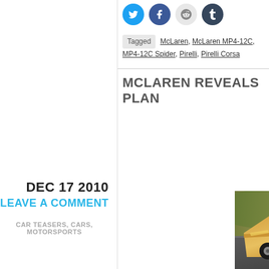[Figure (other): Social media share buttons: Twitter (blue), Facebook (blue), Reddit (gray), Tumblr (dark blue)]
Tagged  McLaren, McLaren MP4-12C, MP4-12C Spider, Pirelli, Pirelli Corsa
DEC 17 2010
LEAVE A COMMENT
CAR TEASERS, CARS, MOTORSPORTS
MCLAREN REVEALS PLAN
[Figure (photo): Orange McLaren MP4-12C GT race car on a racing track, motion-blurred background, rear/side view showing spoiler and livery]